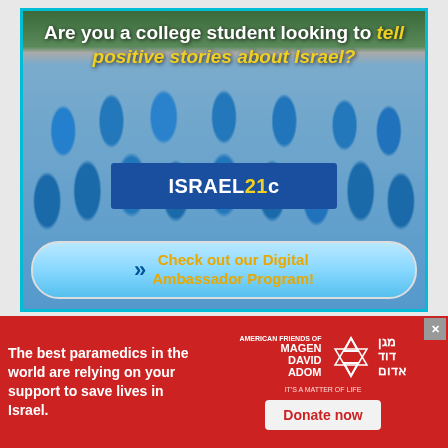[Figure (photo): Group photo of young people in blue t-shirts holding an ISRAEL21c banner, with text overlay: 'Are you a college student looking to tell positive stories about Israel?' and a CTA button 'Check out our Digital Ambassador Program!']
Are you a college student looking to tell positive stories about Israel?
Check out our Digital Ambassador Program!
[Figure (infographic): Red advertisement banner for American Friends of Magen David Adom with text 'The best paramedics in the world are relying on your support to save lives in Israel.' alongside the Magen David Adom logo with Star of David and a 'Donate now' button.]
The best paramedics in the world are relying on your support to save lives in Israel.
Donate now